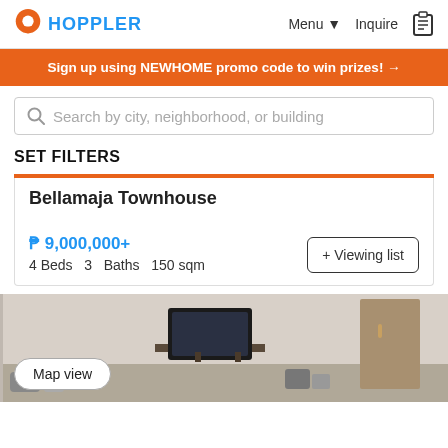HOPPLER — Menu ▾  Inquire
Sign up using NEWHOME promo code to win prizes! →
Search by city, neighborhood, or building
SET FILTERS
Bellamaja Townhouse
₱ 9,000,000+
4 Beds  3  Baths  150 sqm
+ Viewing list
[Figure (photo): Interior room photo showing a TV on a stand, some equipment, and a door. Room appears to be a living/bedroom area.]
Map view